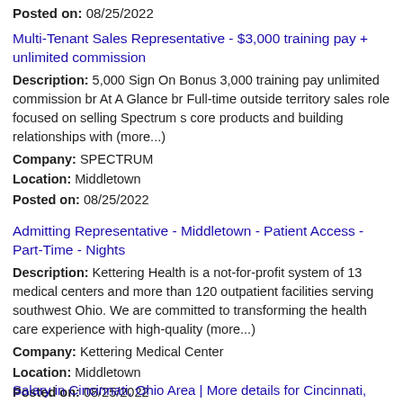Posted on: 08/25/2022
Multi-Tenant Sales Representative - $3,000 training pay + unlimited commission
Description: 5,000 Sign On Bonus 3,000 training pay unlimited commission br At A Glance br Full-time outside territory sales role focused on selling Spectrum s core products and building relationships with (more...)
Company: SPECTRUM
Location: Middletown
Posted on: 08/25/2022
Admitting Representative - Middletown - Patient Access - Part-Time - Nights
Description: Kettering Health is a not-for-profit system of 13 medical centers and more than 120 outpatient facilities serving southwest Ohio. We are committed to transforming the health care experience with high-quality (more...)
Company: Kettering Medical Center
Location: Middletown
Posted on: 08/25/2022
Salary in Cincinnati, Ohio Area | More details for Cincinnati,